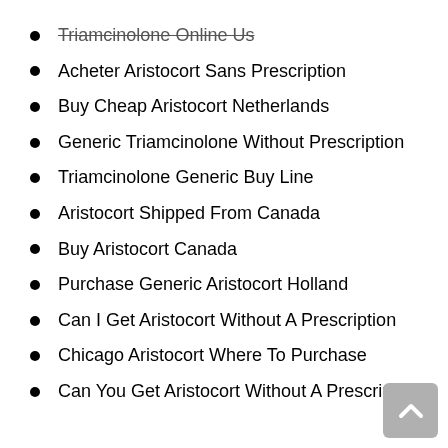Triamcinolone Online Us
Acheter Aristocort Sans Prescription
Buy Cheap Aristocort Netherlands
Generic Triamcinolone Without Prescription
Triamcinolone Generic Buy Line
Aristocort Shipped From Canada
Buy Aristocort Canada
Purchase Generic Aristocort Holland
Can I Get Aristocort Without A Prescription
Chicago Aristocort Where To Purchase
Can You Get Aristocort Without A Prescription
Can I Get Cheap Aristocort Atlanta